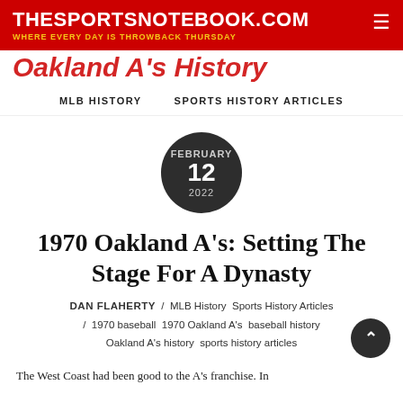THESPORTSNOTEBOOK.COM — WHERE EVERY DAY IS THROWBACK THURSDAY
1970 Oakland A's: Setting The Stage For A Dynasty
FEBRUARY 12 2022
MLB HISTORY   SPORTS HISTORY ARTICLES
DAN FLAHERTY / MLB History  Sports History Articles / 1970 baseball  1970 Oakland A's  baseball history  Oakland A's history  sports history articles
The West Coast had been good to the A's franchise. In